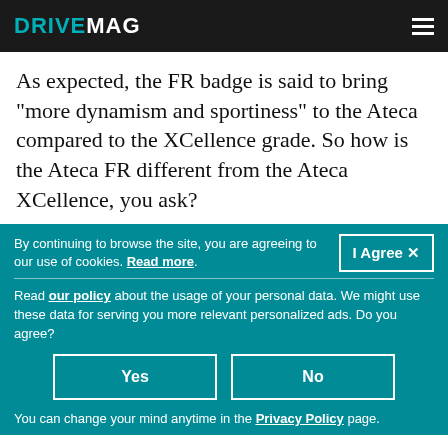DRIVEMAG
As expected, the FR badge is said to bring "more dynamism and sportiness" to the Ateca compared to the XCellence grade. So how is the Ateca FR different from the Ateca XCellence, you ask?
By continuing to browse the site, you are agreeing to our use of cookies. Read more.
I Agree X
Read our policy about the usage of your personal data. We might use these data for serving you more relevant personalized ads. Do you agree?
Yes
No
You can change your mind anytime in the Privacy Policy page.